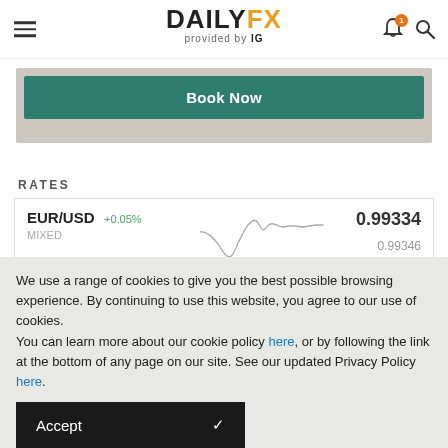DAILYFX provided by IG
[Figure (screenshot): Book Now button on teal/green background]
RATES
[Figure (continuous-plot): EUR/USD line chart showing price movement, current value approximately 0.99334]
EUR/USD +0.05%
MIXED
0.99334
0.99346
[Figure (continuous-plot): US 500 line chart showing price movement, current value approximately 3933.98]
US 500 +0.02%
MIXED
3933.98
3934.58
We use a range of cookies to give you the best possible browsing experience. By continuing to use this website, you agree to our use of cookies.
You can learn more about our cookie policy here, or by following the link at the bottom of any page on our site. See our updated Privacy Policy here.
Accept